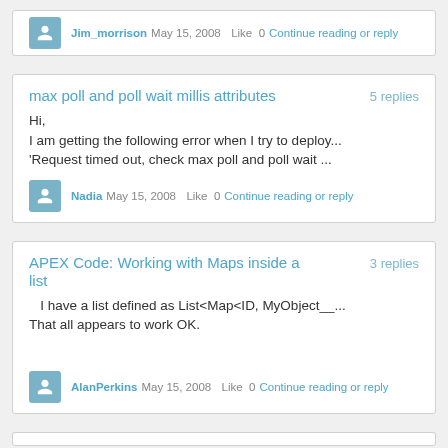Jim_morrison  May 15, 2008  Like 0  Continue reading or reply
max poll and poll wait millis attributes
5 replies
Hi,
I am getting the following error when I try to deploy...
'Request timed out, check max poll and poll wait ...
Nadia  May 15, 2008  Like 0  Continue reading or reply
APEX Code: Working with Maps inside a list
3 replies
I have a list defined as List<Map<ID, MyObject__...
That all appears to work OK.
AlanPerkins  May 15, 2008  Like 0  Continue reading or reply